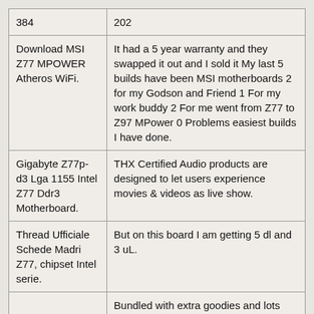| 384 | 202 |
| Download MSI Z77 MPOWER Atheros WiFi. | It had a 5 year warranty and they swapped it out and I sold it My last 5 builds have been MSI motherboards 2 for my Godson and Friend 1 For my work buddy 2 For me went from Z77 to Z97 MPower 0 Problems easiest builds I have done. |
| Gigabyte Z77p-d3 Lga 1155 Intel Z77 Ddr3 Motherboard. | THX Certified Audio products are designed to let users experience movies & videos as live show. |
| Thread Ufficiale Schede Madri Z77, chipset Intel serie. | But on this board I am getting 5 dl and 3 uL. |
|  | Bundled with extra goodies and lots |